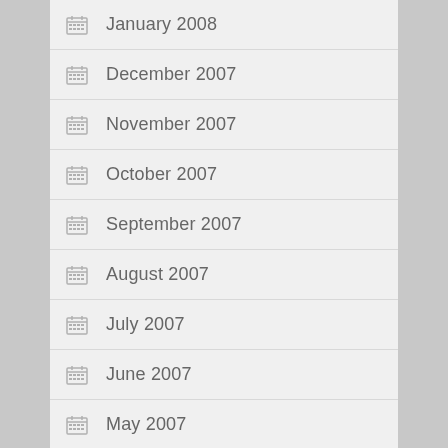January 2008
December 2007
November 2007
October 2007
September 2007
August 2007
July 2007
June 2007
May 2007
April 2007